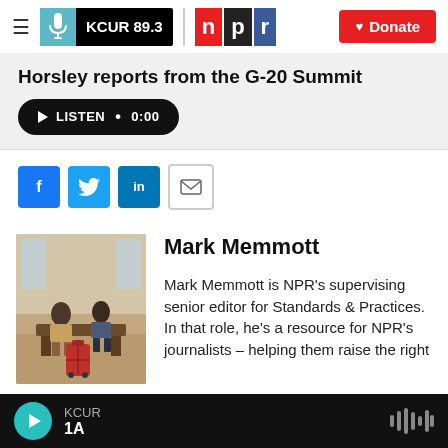KCUR 89.3 | npr | Donate
Horsley reports from the G-20 Summit
LISTEN • 0:00
[Figure (screenshot): Social share buttons: Facebook (f), Twitter (bird), LinkedIn (in), Email (envelope)]
[Figure (photo): Photo of people sitting in what appears to be an airport or public space with luggage]
Mark Memmott
Mark Memmott is NPR's supervising senior editor for Standards & Practices. In that role, he's a resource for NPR's journalists – helping them raise the right
KCUR 1A